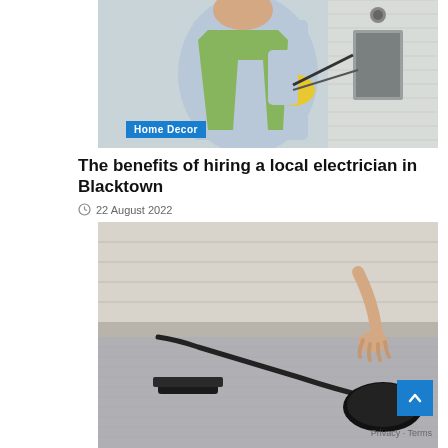[Figure (photo): A person working on an electrical panel or meter box on the side of a house. Person wearing a light blue shirt and green high-vis vest, holding tools, with yellow gloves visible. Siding of house in background.]
Home Decor
The benefits of hiring a local electrician in Blacktown
22 August 2022
[Figure (photo): A person vacuuming a gray carpet next to a light-colored sofa. A vacuum cleaner hose and nozzle are visible on the carpet. Person's hand is reaching down toward the carpet.]